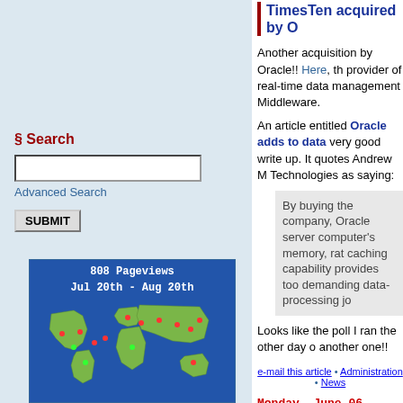TimesTen acquired by O[racle]
Another acquisition by Oracle!! Here, the provider of real-time data management Middleware.
An article entitled Oracle adds to data [grid] very good write up. It quotes Andrew M[...] Technologies as saying:
By buying the company, Oracle server computer's memory, rat caching capability provides too demanding data-processing jo[bs]
Looks like the poll I ran the other day o[n] another one!!
e-mail this article • Administration • News
Monday, June 06, 2005
§ Search
Advanced Search
[Figure (map): World map widget showing 808 Pageviews Jul 20th - Aug 20th with location dots]
Is Oracle spreading itse[lf]
I came across an article by Edmon Beg[...] The conclusion of the article states: